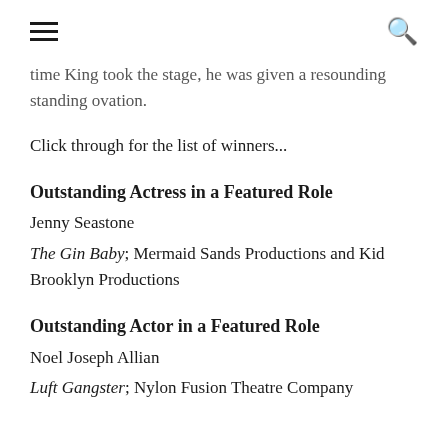≡  🔍
time King took the stage, he was given a resounding standing ovation.
Click through for the list of winners...
Outstanding Actress in a Featured Role
Jenny Seastone
The Gin Baby; Mermaid Sands Productions and Kid Brooklyn Productions
Outstanding Actor in a Featured Role
Noel Joseph Allian
Luft Gangster; Nylon Fusion Theatre Company